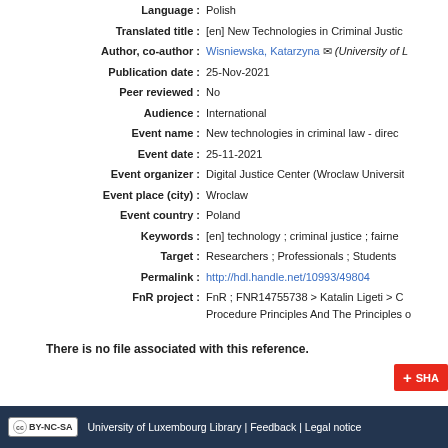Language : Polish
Translated title : [en] New Technologies in Criminal Justice
Author, co-author : Wisniewska, Katarzyna (University of Luxembourg)
Publication date : 25-Nov-2021
Peer reviewed : No
Audience : International
Event name : New technologies in criminal law - direct...
Event date : 25-11-2021
Event organizer : Digital Justice Center (Wroclaw University...)
Event place (city) : Wroclaw
Event country : Poland
Keywords : [en] technology ; criminal justice ; fairne...
Target : Researchers ; Professionals ; Students
Permalink : http://hdl.handle.net/10993/49804
FnR project : FnR ; FNR14755738 > Katalin Ligeti > C... Procedure Principles And The Principles o...
There is no file associated with this reference.
All documents in ORBilu are protected by a user license.
University of Luxembourg Library | Feedback | Legal notice